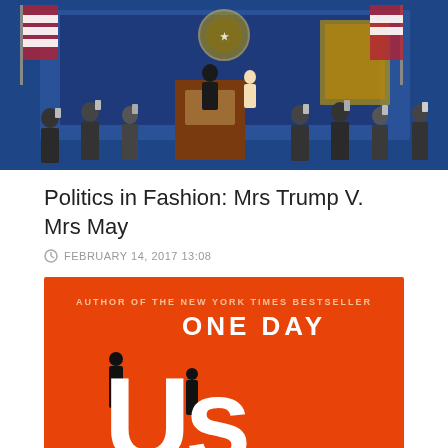[Figure (photo): A political event photo showing a figure at a podium with a crowd holding up phones, American flags visible, blue background]
Politics in Fashion: Mrs Trump V. Mrs May
FEBRUARY 14, 2017 13:08
[Figure (photo): Book cover for 'Us: A Novel' by David Nicholls, orange/red background with white text. Subtitle: Author of the New York Times Bestseller One Day]
Book of the Month: October